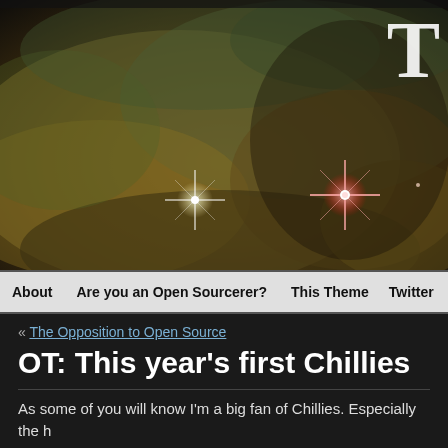[Figure (photo): Hubble space telescope nebula image with orange and green gas clouds and bright star flares, used as a website header banner. A large white letter 'T' is visible in the top right corner.]
About | Are you an Open Sourcerer? | This Theme | Twitter
« The Opposition to Open Source
OT: This year's first Chillies
As some of you will know I'm a big fan of Chillies. Especially the h... also really enjoy growing my own too.